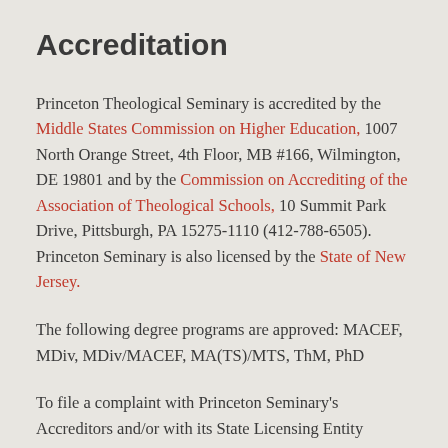Accreditation
Princeton Theological Seminary is accredited by the Middle States Commission on Higher Education, 1007 North Orange Street, 4th Floor, MB #166, Wilmington, DE 19801 and by the Commission on Accrediting of the Association of Theological Schools, 10 Summit Park Drive, Pittsburgh, PA 15275-1110 (412-788-6505). Princeton Seminary is also licensed by the State of New Jersey.
The following degree programs are approved: MACEF, MDiv, MDiv/MACEF, MA(TS)/MTS, ThM, PhD
To file a complaint with Princeton Seminary's Accreditors and/or with its State Licensing Entity